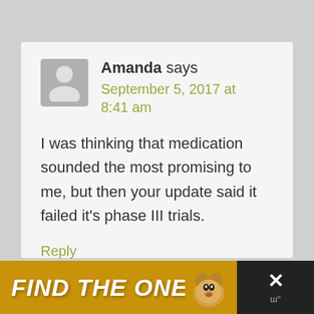Amanda says
September 5, 2017 at 8:41 am
I was thinking that medication sounded the most promising to me, but then your update said it failed it's phase III trials.
Reply
[Figure (other): Advertisement banner: FIND THE ONE with a dog photo and close button]